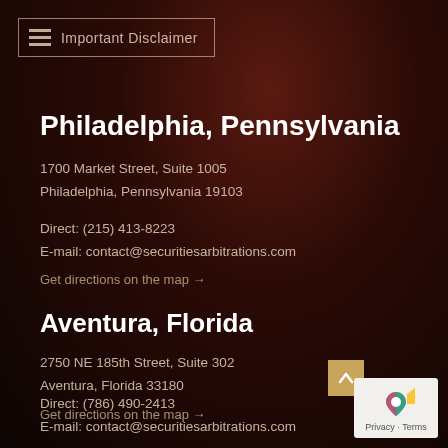Important Disclaimer
Philadelphia, Pennsylvania
1700 Market Street, Suite 1005
Philadelphia, Pennsylvania 19103
Direct: (215) 413-8223
E-mail: contact@securitiesarbitrations.com
Get directions on the map →
Aventura, Florida
2750 NE 185th Street, Suite 302
Aventura, Florida 33180
Direct: (786) 490-2413
E-mail: contact@securitiesarbitrations.com
Get directions on the map →